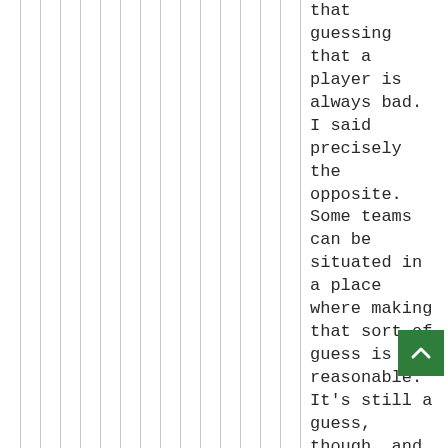that guessing that a player is always bad. I said precisely the opposite. Some teams can be situated in a place where making that sort of guess is reasonable. It's still a guess, though, and, no, that doesn't entail any downgrading the value of qb mobility. Good grief, enough with th...